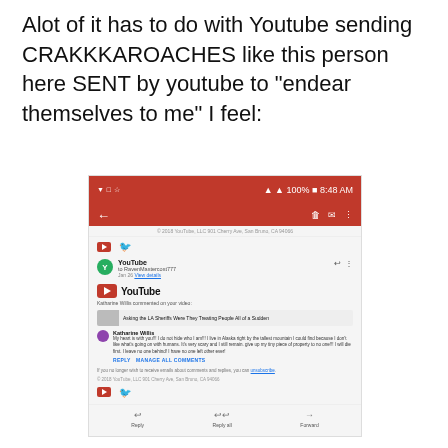Alot of it has to do with Youtube sending CRAKKKAROACHES like this person here SENT by youtube to “endear themselves to me” I feel:
[Figure (screenshot): Screenshot of a YouTube email notification on an Android device showing a comment by Katharine Willis on a video titled 'Asking the LA Sheriffs Were They Treating People All of a Sudden', with YouTube branding, reply/forward options at the bottom.]